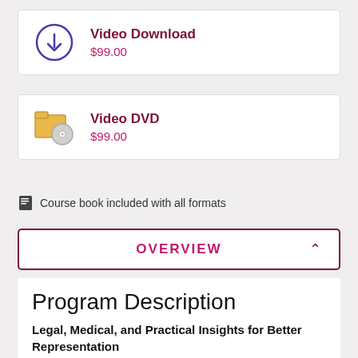Video Download $99.00
Video DVD $99.00
Course book included with all formats
OVERVIEW
Program Description
Legal, Medical, and Practical Insights for Better Representation
Alzheimer's and dementia are an epidemic